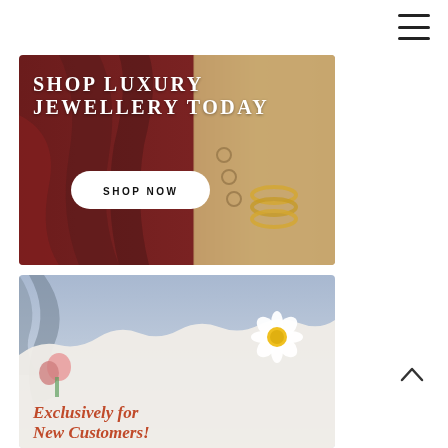[Figure (other): Hamburger menu icon (three horizontal lines) in top right corner]
[Figure (illustration): Luxury jewellery promotional banner showing a woman wearing gold bracelets with text 'SHOP LUXURY JEWELLERY TODAY' and a 'SHOP NOW' button]
[Figure (illustration): New customers promotional banner with floral design (daisy and rose bud) on lavender/white background with italic text 'Exclusively for New Customers!']
[Figure (other): Scroll to top chevron arrow icon in lower right corner]